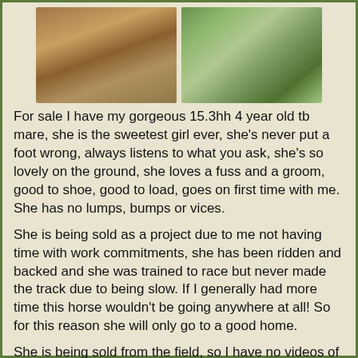[Figure (photo): Two photos of a horse side by side. Left photo shows a chestnut/bay horse standing outdoors. Right photo shows a person with a horse near a wooden fence.]
For sale I have my gorgeous 15.3hh 4 year old tb mare, she is the sweetest girl ever, she's never put a foot wrong, always listens to what you ask, she's so lovely on the ground, she loves a fuss and a groom, good to shoe, good to load, goes on first time with me. She has no lumps, bumps or vices.
She is being sold as a project due to me not having time with work commitments, she has been ridden and backed and she was trained to race but never made the track due to being slow. If I generally had more time this horse wouldn't be going anywhere at all! So for this reason she will only go to a good home.
She is being sold from the field, so I have no videos of her being ridden.
Price: £2,500 ono
Location: Boccles